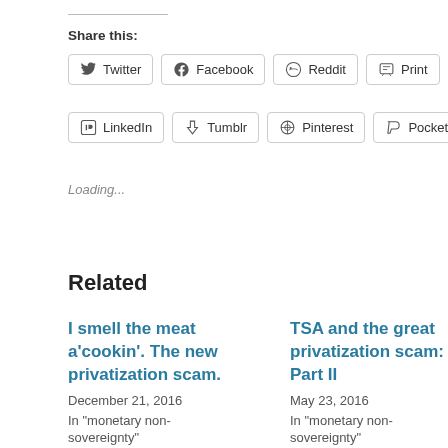Share this:
Twitter
Facebook
Reddit
Print
Email
LinkedIn
Tumblr
Pinterest
Pocket
Loading...
Related
I smell the meat a’cookin’. The new privatization scam.
December 21, 2016
In "monetary non-sovereignty"
TSA and the great privatization scam: Part II
May 23, 2016
In "monetary non-sovereignty"